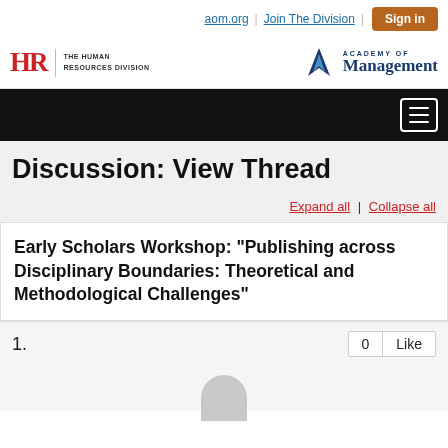aom.org | Join The Division | Sign in
[Figure (logo): HR The Human Resources Division logo and Academy of Management logo]
[Figure (other): Black navigation bar with hamburger menu icon]
Discussion: View Thread
Expand all | Collapse all
Early Scholars Workshop: "Publishing across Disciplinary Boundaries: Theoretical and Methodological Challenges"
1.  0  Like
[Figure (illustration): User avatar circle (partially visible)]